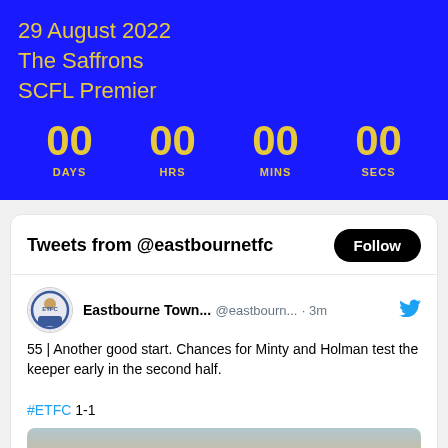29 August 2022
The Saffrons
SCFL Premier
00 DAYS  00 HRS  00 MINS  00 SECS
Tweets from @eastbournetfc
Follow
Eastbourne Town... @eastbourn... · 3m
55 | Another good start. Chances for Minty and Holman test the keeper early in the second half.
#ETFC 1-1
[Figure (photo): Football match photo showing players on a pitch with buildings in the background on a sunny day.]